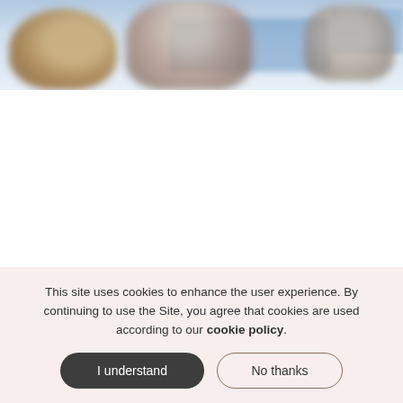[Figure (photo): Blurred photo of people, likely in a stadium or event setting, with blue background elements visible.]
LUCRIS ›
This site uses cookies to enhance the user experience. By continuing to use the Site, you agree that cookies are used according to our cookie policy.
I understand
No thanks